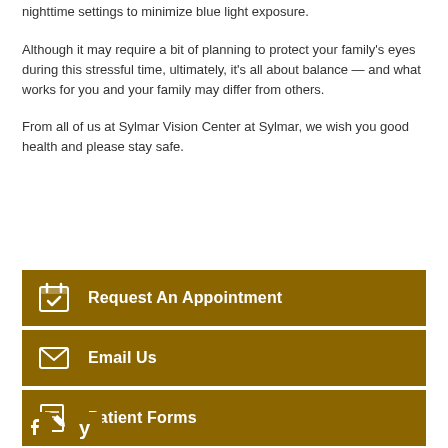nighttime settings to minimize blue light exposure.
Although it may require a bit of planning to protect your family's eyes during this stressful time, ultimately, it's all about balance — and what works for you and your family may differ from others.
From all of us at Sylmar Vision Center at Sylmar, we wish you good health and please stay safe.
Request An Appointment
Email Us
Patient Forms